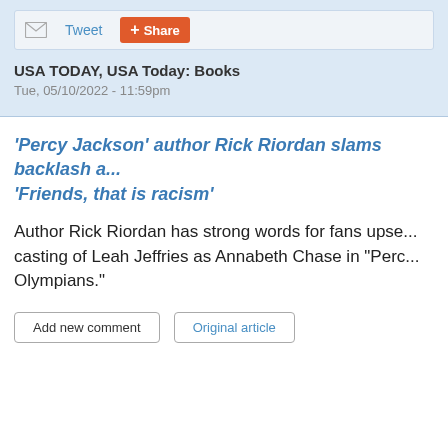Tweet  Share
USA TODAY, USA Today: Books
Tue, 05/10/2022 - 11:59pm
'Percy Jackson' author Rick Riordan slams backlash a... 'Friends, that is racism'
Author Rick Riordan has strong words for fans upse... casting of Leah Jeffries as Annabeth Chase in "Perc... Olympians."
Add new comment   Original article